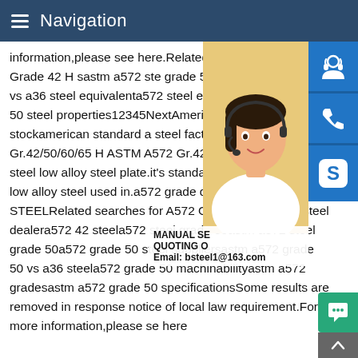Navigation
information,please see here.Related searstandard A572 Grade 42 H sastm a572 stegrade 50astm a572 grade 50 vs a36 steelequivalenta572 steel equivalenta572 gradgr 50 steel properties12345NextAmericanchannel section stockamerican standard asteel factory.ASTM A572 Gr.42/50/60/65 HASTM A572 Gr.42/50/60/65 H beam steellow alloy steel plate.it's standard is ASTM.strength low alloy steel used in.a572 gradedealer - BDN STEELRelated searches for A572 Grade 42 H shapesteel dealera572 42 steela572 steel grade 50astm a572 steel grade 50a572 grade 50 steel suppliersastm a572 grade 50 vs a36 steela572 grade 50 machinabilityastm a572 gradesastm a572 grade 50 specificationsSome results are removed in response notice of local law requirement.For more information,please se here A304
[Figure (photo): Customer service representative woman with headset on light background]
[Figure (infographic): Blue icon buttons: headset/customer service, phone, Skype (S logo)]
MANUAL SE QUOTING O Email: bsteel1@163.com